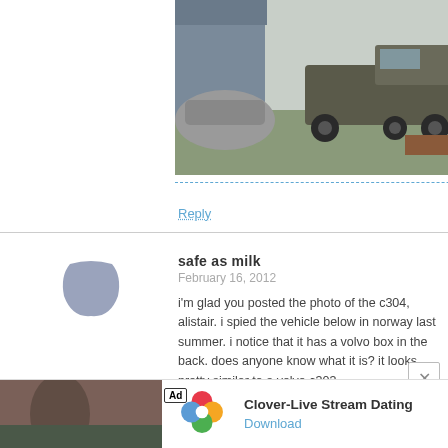[Figure (photo): Military truck parked in a yard near a building, with other vehicles visible]
Reply
safe as milk
February 16, 2012
i'm glad you posted the photo of the c304, alistair. i spied the vehicle below in norway last summer. i notice that it has a volvo box in the back. does anyone know what it is? it looks pretty similar to a volvo c303.
[Figure (photo): Camouflage military vehicle (Volvo C303-style) parked on a stone surface with green slope behind]
[Figure (other): Advertisement banner: Clover-Live Stream Dating app ad with Download link]